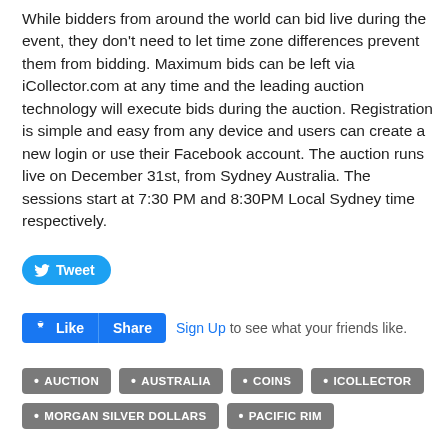While bidders from around the world can bid live during the event, they don't need to let time zone differences prevent them from bidding. Maximum bids can be left via iCollector.com at any time and the leading auction technology will execute bids during the auction. Registration is simple and easy from any device and users can create a new login or use their Facebook account. The auction runs live on December 31st, from Sydney Australia. The sessions start at 7:30 PM and 8:30PM Local Sydney time respectively.
[Figure (other): Twitter Tweet button (blue rounded button with bird icon and 'Tweet' text)]
[Figure (other): Facebook Like and Share buttons with 'Sign Up to see what your friends like.' text]
AUCTION
AUSTRALIA
COINS
ICOLLECTOR
MORGAN SILVER DOLLARS
PACIFIC RIM